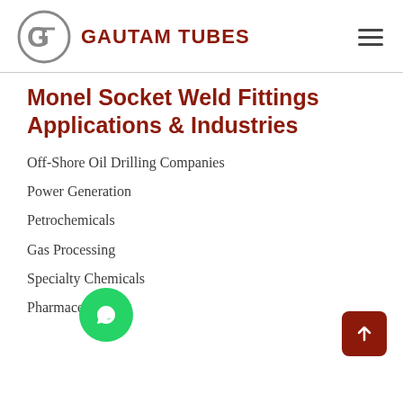GAUTAM TUBES
Monel Socket Weld Fittings Applications & Industries
Off-Shore Oil Drilling Companies
Power Generation
Petrochemicals
Gas Processing
Specialty Chemicals
Pharmaceuticals